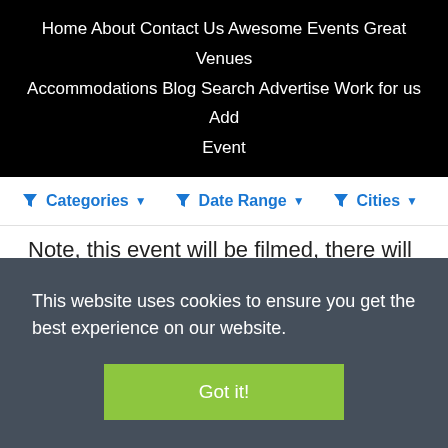Home  About  Contact Us  Awesome Events  Great Venues  Accommodations  Blog  Search  Advertise  Work for us  Add Event
Categories  Date Range  Cities
Note, this event will be filmed, there will be cameras in the auditorium.
This website uses cookies to ensure you get the best experience on our website.
Got it!